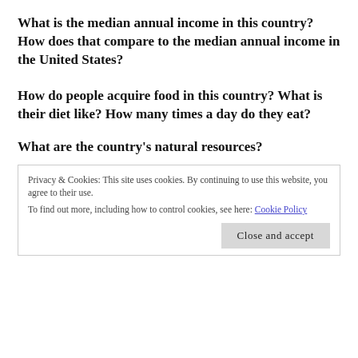What is the median annual income in this country? How does that compare to the median annual income in the United States?
How do people acquire food in this country? What is their diet like? How many times a day do they eat?
What are the country’s natural resources?
Privacy & Cookies: This site uses cookies. By continuing to use this website, you agree to their use.
To find out more, including how to control cookies, see here: Cookie Policy
Close and accept